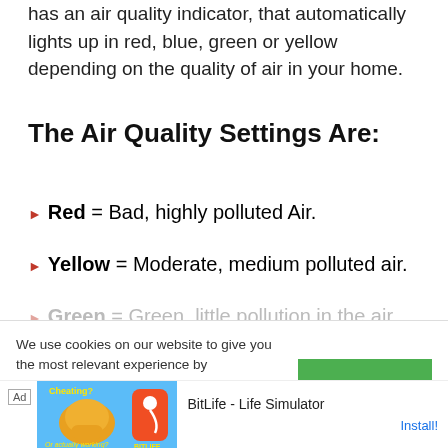has an air quality indicator, that automatically lights up in red, blue, green or yellow depending on the quality of air in your home.
The Air Quality Settings Are:
Red = Bad, highly polluted Air.
Yellow = Moderate, medium polluted air.
Green = Green, little pollution in the air.
Blue = Very good, for sleep mode.
We use cookies on our website to give you the most relevant experience by remembering your preferences and repeat visits. By clicking "Accept", you consent to the use of ALL the cookies.
The Levoit LV-RU131 has a timer, which allows you to program operation from 1 to 12 hours. It also has an auto mode and a sleep mode. It has four fan
settings ... of a finger
[Figure (screenshot): Mobile advertisement banner for BitLife - Life Simulator app, with Ad label, colorful artwork, app icon, title and Install button]